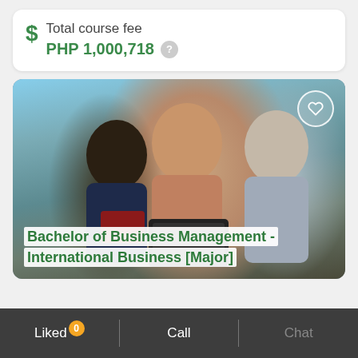Total course fee
PHP 1,000,718
[Figure (photo): Three students sitting together, smiling and working on a laptop in a bright room with large windows]
Bachelor of Business Management - International Business [Major]
Liked 0   Call   Chat